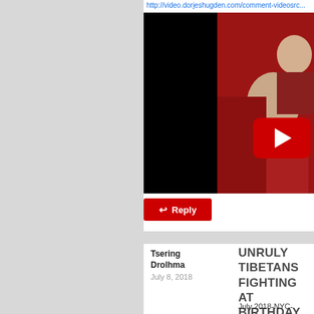http://video.dorjeshugden.com/comment-videosrc...
[Figure (screenshot): Video thumbnail showing people in red/maroon robes with a black panel on the left and a YouTube-style red play button in the lower right]
↩ Reply
Tsering Drolhma
July 8, 2018
UNRULY TIBETANS FIGHTING AT BIRTHDAY PARTY AGAIN
July 2018-NYC- Tibetans fighting at some birthda...